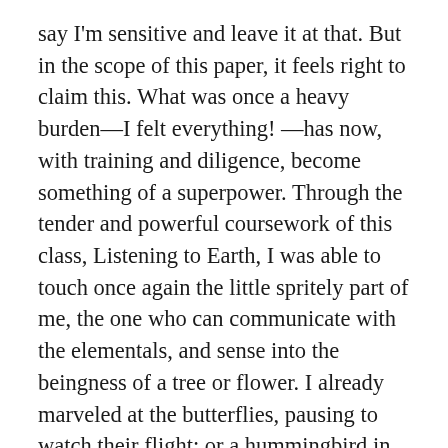say I'm sensitive and leave it at that. But in the scope of this paper, it feels right to claim this. What was once a heavy burden—I felt everything! —has now, with training and diligence, become something of a superpower. Through the tender and powerful coursework of this class, Listening to Earth, I was able to touch once again the little spritely part of me, the one who can communicate with the elementals, and sense into the beingness of a tree or flower. I already marveled at the butterflies, pausing to watch their flight; or a hummingbird in mid-air, who seemed to be watching me, watching her. Yet, I credit this class with giving me a much-needed confirmation that in my sensitive nature, I am